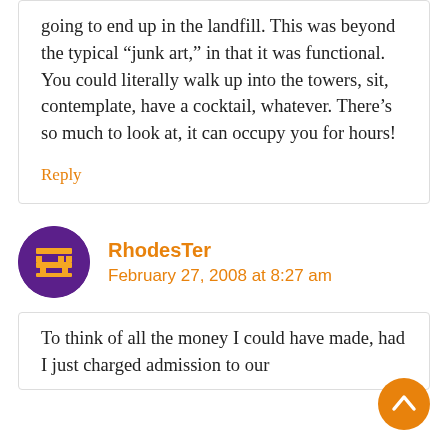going to end up in the landfill. This was beyond the typical “junk art,” in that it was functional. You could literally walk up into the towers, sit, contemplate, have a cocktail, whatever. There’s so much to look at, it can occupy you for hours!
Reply
RhodesTer
February 27, 2008 at 8:27 am
To think of all the money I could have made, had I just charged admission to our